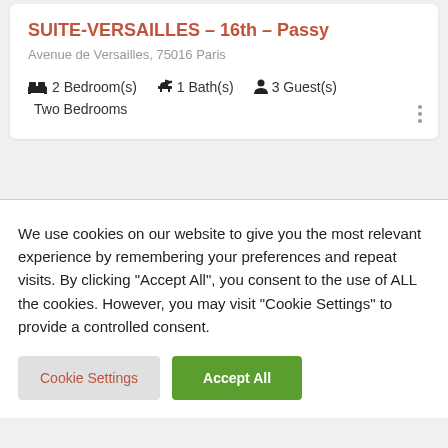SUITE-VERSAILLES – 16th – Passy
Avenue de Versailles, 75016 Paris
2 Bedroom(s)  1 Bath(s)  3 Guest(s)  Two Bedrooms
We use cookies on our website to give you the most relevant experience by remembering your preferences and repeat visits. By clicking "Accept All", you consent to the use of ALL the cookies. However, you may visit "Cookie Settings" to provide a controlled consent.
Cookie Settings
Accept All